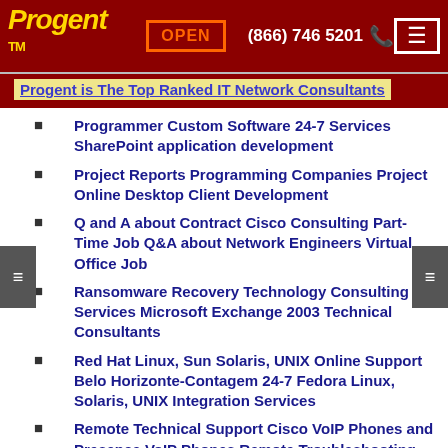Progent TM | OPEN | (866) 746 5201 | [menu]
Progent is The Top Ranked IT Network Consultants
Programmer Custom Software 24-7 Services SharePoint application development
Project Reports Programming Companies Project Online Desktop Client Development
Q and A about Contract Cisco Consulting Part-Time Job Q&A about Network Engineers Virtual Office Job
Ransomware Recovery Technology Consulting Services Microsoft Exchange 2003 Technical Consultants
Red Hat Linux, Sun Solaris, UNIX Online Support Belo Horizonte-Contagem 24-7 Fedora Linux, Solaris, UNIX Integration Services
Remote Technical Support Cisco VoIP Phones and Presence VoIP Phones Remote Troubleshooting
Remote Troubleshooting Cisco VPN Cisco VPN Online Consulting
Remote Troubleshooting SQL Server 2012 Immediate PowerPivot for SharePoint IT Consultant
Remote Workers Belo Horizonte Consultants - Endpoint Management Systems Consultants Remote Workforce Belo